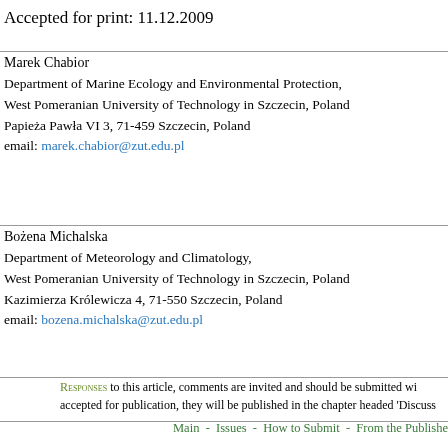Accepted for print: 11.12.2009
Marek Chabior
Department of Marine Ecology and Environmental Protection, West Pomeranian University of Technology in Szczecin, Poland
Papieża Pawła VI 3, 71-459 Szczecin, Poland
email: marek.chabior@zut.edu.pl
Bożena Michalska
Department of Meteorology and Climatology, West Pomeranian University of Technology in Szczecin, Poland
Kazimierza Królewicza 4, 71-550 Szczecin, Poland
email: bozena.michalska@zut.edu.pl
Responses to this article, comments are invited and should be submitted wi... accepted for publication, they will be published in the chapter headed 'Discuss...
Main  -  Issues  -  How to Submit  -  From the Publisher